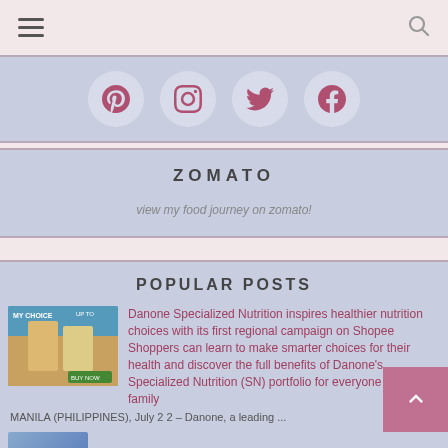Navigation bar with hamburger menu and search icon
[Figure (other): Social media icons row: Pinterest, Instagram, Twitter, Facebook in circular buttons on a blue-grey background]
ZOMATO
[Figure (other): Zomato food journey link image with alt text: view my food journey on zomato!]
POPULAR POSTS
[Figure (photo): Thumbnail image for Danone Specialized Nutrition post showing product packaging]
Danone Specialized Nutrition inspires healthier nutrition choices with its first regional campaign on Shopee Shoppers can learn to make smarter choices for their health and discover the full benefits of Danone's Specialized Nutrition (SN) portfolio for everyone in the family
MANILA (PHILIPPINES), July 2 2  – Danone, a leading ...